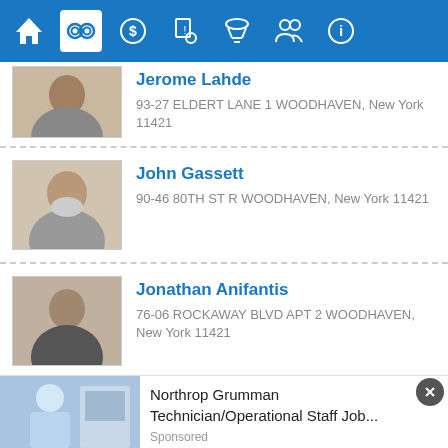[Figure (screenshot): Mobile app navigation bar with icons for home, handcuffs (active/selected), money, documents, tornado, people, and info on blue background]
Jerome Lahde
93-27 ELDERT LANE 1 WOODHAVEN, New York 11421
John Gassett
90-46 80TH ST R WOODHAVEN, New York 11421
Jonathan Anifantis
76-06 ROCKAWAY BLVD APT 2 WOODHAVEN, New York 11421
View All Registered Offenders
Crime Index
view report
Northrop Grumman Technician/Operational Staff Job...
Sponsored